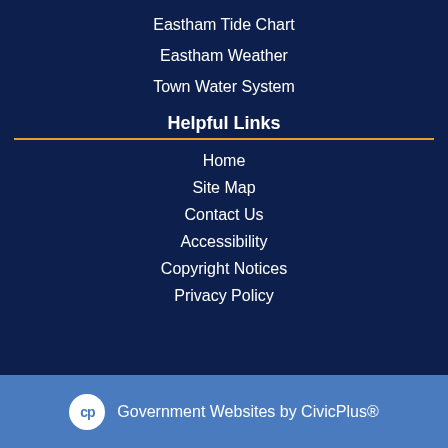Eastham Tide Chart
Eastham Weather
Town Water System
Helpful Links
Home
Site Map
Contact Us
Accessibility
Copyright Notices
Privacy Policy
Government Websites by CivicPlus®